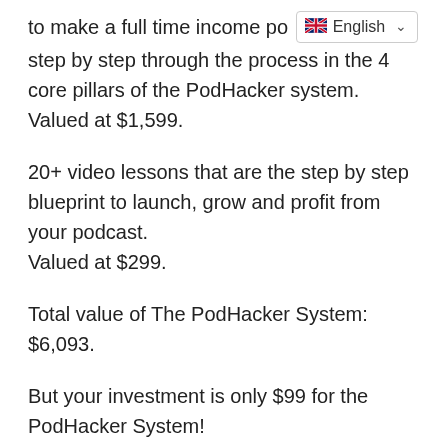to make a full time income po [English language selector] step by step through the process in the 4 core pillars of the PodHacker system. Valued at $1,599.
20+ video lessons that are the step by step blueprint to launch, grow and profit from your podcast. Valued at $299.
Total value of The PodHacker System: $6,093.
But your investment is only $99 for the PodHacker System! (And then 5 more payments of just $99)
Here’s How It Works: